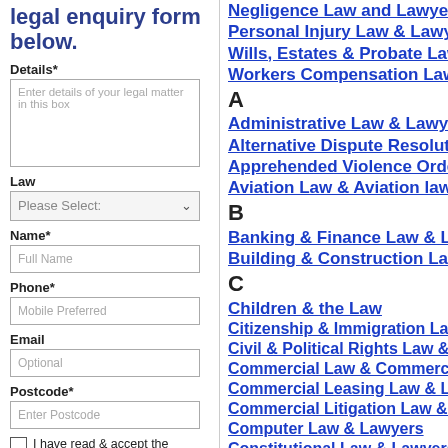legal enquiry form below.
Details*
Enter details of your legal matter in this box
Law
Name*
Full Name
Phone*
Mobile Preferred
Email
Optional
Postcode*
Enter Postcode
I have read & accept the Terms of Use
Negligence Law and Lawyers
Personal Injury Law & Lawyers
Wills, Estates & Probate Law &
Workers Compensation Law &
A
Administrative Law & Lawyers
Alternative Dispute Resolution
Apprehended Violence Orders
Aviation Law & Aviation lawyers
B
Banking & Finance Law & Law
Building & Construction Law &
C
Children & the Law
Citizenship & Immigration Law
Civil & Political Rights Law &
Commercial Law & Commerci
Commercial Leasing Law & La
Commercial Litigation Law & L
Computer Law & Lawyers
Constitutional Law & Lawyers
Consumer Credit Law & Lawy
Consumer Protection Law & L
Conveyancing Law & Lawyers
Corporate Law & lawyers
Court Appearance Lawyers